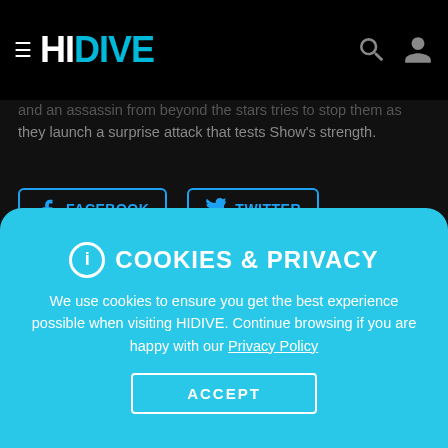HI DIVE
they launch a surprise attack that tests Show's strength.
FACEBOOK   TWITTER
SEASON 1 | 49 EPISODES
[Figure (screenshot): Two anime episode thumbnails side by side with play buttons]
COOKIES & PRIVACY

We use cookies to ensure you get the best experience possible when visiting HIDIVE. Continue browsing if you are happy with our Privacy Policy

ACCEPT